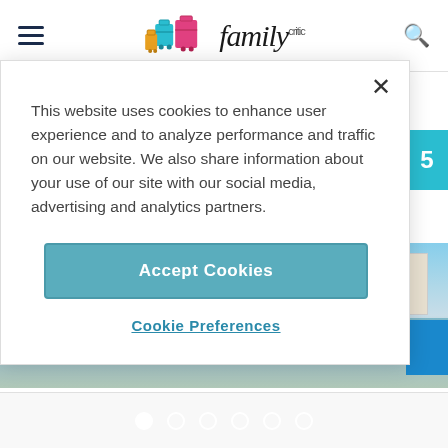Family Critic — navigation bar with hamburger menu and search icon
This website uses cookies to enhance user experience and to analyze performance and traffic on our website. We also share information about your use of our site with our social media, advertising and analytics partners.
Accept Cookies
Cookie Preferences
[Figure (photo): Beach scene with water, sandy shore, beach chairs and trees in background, building on right side]
Slideshow navigation dots — 6 dots, first filled